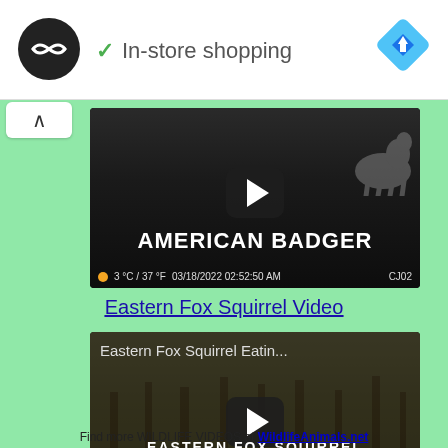[Figure (screenshot): Advertisement banner: circular logo with infinity-like symbol, checkmark with 'In-store shopping' text, blue navigation diamond icon top right, play and close controls bottom left]
[Figure (screenshot): American Badger wildlife camera video thumbnail: dark grayscale background with animal silhouette, play button, title 'AMERICAN BADGER', metadata showing 3°C/37°F, 03/18/2022 02:52:50 AM, CJ02]
Eastern Fox Squirrel Video
[Figure (screenshot): Eastern Fox Squirrel video thumbnail: snowy woodland background, header 'Eastern Fox Squirrel Eatin...', play button, title 'EASTERN FOX SQUIRREL IN SNOWY WOODS', partial timestamp at bottom]
Find more WILDLIFE VIDEOS at WildlifeAnimals.net